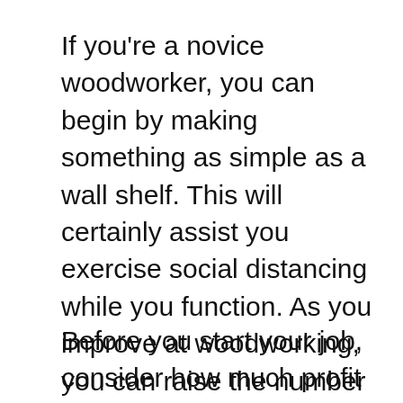If you're a novice woodworker, you can begin by making something as simple as a wall shelf. This will certainly assist you exercise social distancing while you function. As you improve at woodworking, you can raise the number of jobs you make, and your series of abilities will certainly increase. See to it to constantly function securely! Read the Occupational Safety and also Wellness Management's Tips for Machine Shop Work as well as take additional care to follow their standards.
Before you start your job, consider how much profit it can bring. Developing bigger products will certainly generate a greater